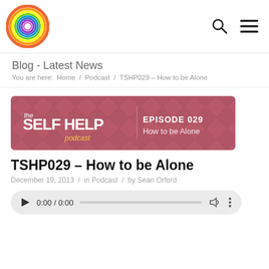Self Help Podcast logo, search and menu icons
Blog - Latest News
You are here:  Home  /  Podcast  /  TSHP029 – How to be Alone
[Figure (illustration): The Self Help Podcast banner image with a rose/mauve diamond pattern background. Text reads: 'the SELF HELP podcast' on the left and 'EPISODE 029 How to be Alone' on the right.]
TSHP029 – How to be Alone
December 19, 2013  /  in Podcast  /  by Sean Orford
[Figure (other): Audio player showing 0:00 / 0:00 with play button, progress bar, volume icon, and more options icon.]